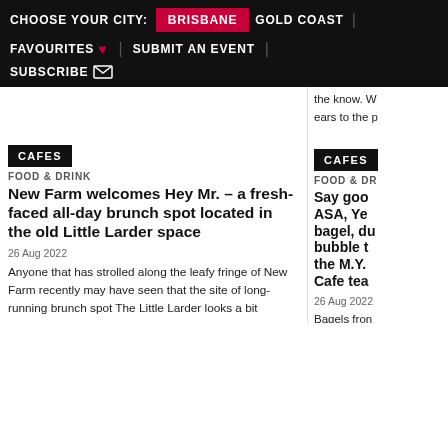CHOOSE YOUR CITY: BRISBANE | GOLD COAST | FAVOURITES ♥ | SUBMIT AN EVENT | SUBSCRIBE
the know. W ears to the p
CAFES
FOOD & DRINK
New Farm welcomes Hey Mr. – a fresh-faced all-day brunch spot located in the old Little Larder space
26 Aug 2022
Anyone that has strolled along the leafy fringe of New Farm recently may have seen that the site of long-running brunch spot The Little Larder looks a bit different. The rustic interior has been swapped for a clean, Scandi-inspired aesthetic and the kitchen is pumping out creative eats like chicken congee, slow-cooked massaman lamb shanks, hash brown Benedicts and southern fried-chicken croffles. Now known as Hey Mr., this sun-soaked locale is injecting a bit of creative freshness
CAFES
FOOD & DR
Say goo ASA, Ye bagel, du bubble t the M.Y. Cafe tea
26 Aug 2022
Bagels fron Deli, coffee Bones and b